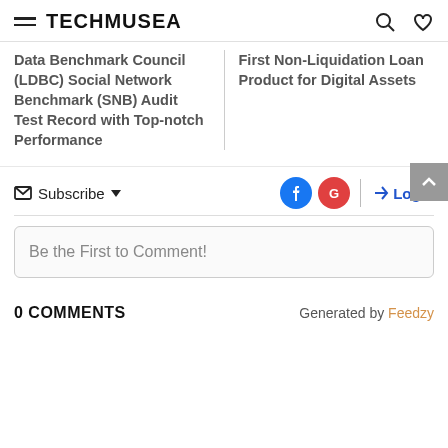TECHMUSEA
Data Benchmark Council (LDBC) Social Network Benchmark (SNB) Audit Test Record with Top-notch Performance
First Non-Liquidation Loan Product for Digital Assets
Subscribe
Login
Be the First to Comment!
0 COMMENTS
Generated by Feedzy